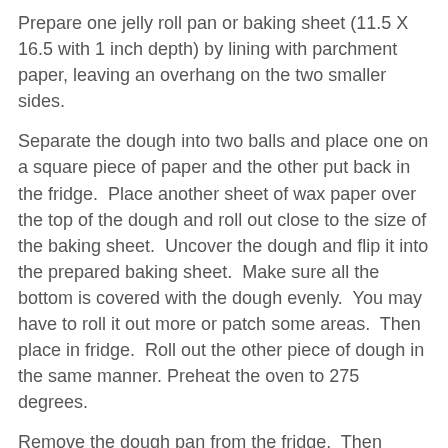Prepare one jelly roll pan or baking sheet (11.5 X 16.5 with 1 inch depth) by lining with parchment paper, leaving an overhang on the two smaller sides.
Separate the dough into two balls and place one on a square piece of paper and the other put back in the fridge.  Place another sheet of wax paper over the top of the dough and roll out close to the size of the baking sheet.  Uncover the dough and flip it into the prepared baking sheet.  Make sure all the bottom is covered with the dough evenly.  You may have to roll it out more or patch some areas.  Then place in fridge.  Roll out the other piece of dough in the same manner. Preheat the oven to 275 degrees.
Remove the dough pan from the fridge.  Then empty the cup of macadamia butter onto the dough and use a large spatula to smooth it out evenly, leaving about 1/4 inch border on all sides.  Then flip the other piece of dough on top.  Pat down dough, making sure it covers from edge to edge and that there are no air bubbles in between. Then, using a fork, poke several holes in the dough to insure that no bubbles are created when baking.